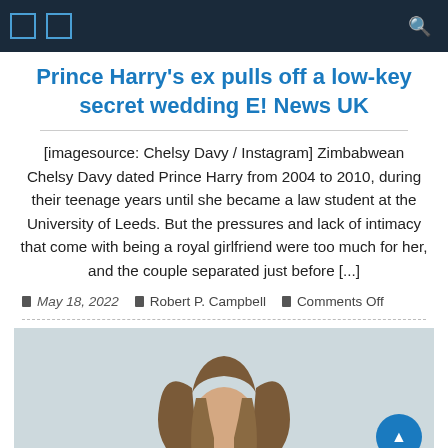Navigation bar with icons
Prince Harry's ex pulls off a low-key secret wedding E! News UK
[imagesource: Chelsy Davy / Instagram] Zimbabwean Chelsy Davy dated Prince Harry from 2004 to 2010, during their teenage years until she became a law student at the University of Leeds. But the pressures and lack of intimacy that come with being a royal girlfriend were too much for her, and the couple separated just before [...]
May 18, 2022  Robert P. Campbell  Comments Off
[Figure (photo): Photo of a woman with long wavy brown hair against a light blue/grey background]